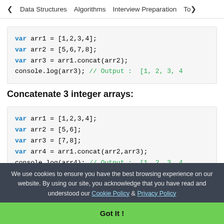< Data Structures  Algorithms  Interview Preparation  Top>
[Figure (screenshot): Code block showing concatenation of 2 integer arrays: var arr1=[1,2,3,4]; var arr2=[5,6,7,8]; var arr3=arr1.concat(arr2); console.log(arr3); // Output : [1, 2, 3, 4]
Concatenate 3 integer arrays:
[Figure (screenshot): Code block showing concatenation of 3 integer arrays: var arr1=[1,2,3,4]; var arr2=[5,6]; var arr3=[7,8]; var arr4=arr1.concat(arr2,arr3); console.log(arr4); // Output : [1, 2, 3, 4]
We use cookies to ensure you have the best browsing experience on our website. By using our site, you acknowledge that you have read and understood our Cookie Policy & Privacy Policy
Got It !